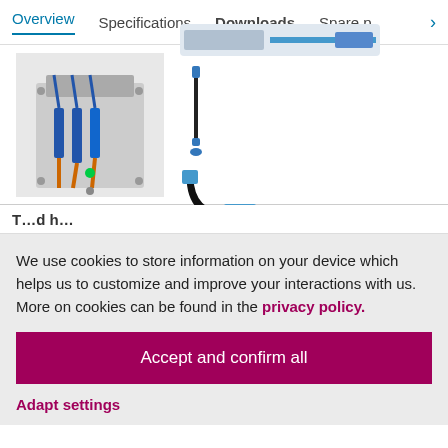Overview | Specifications | Downloads | Spare p >
[Figure (photo): Engineering product photo showing a modular liquid analysis system with blue cable connectors mounted on a panel (left), and individual sensor/probe components including a slim probe and a curved black cable connector (right)]
We use cookies to store information on your device which helps us to customize and improve your interactions with us. More on cookies can be found in the privacy policy.
Accept and confirm all
Adapt settings